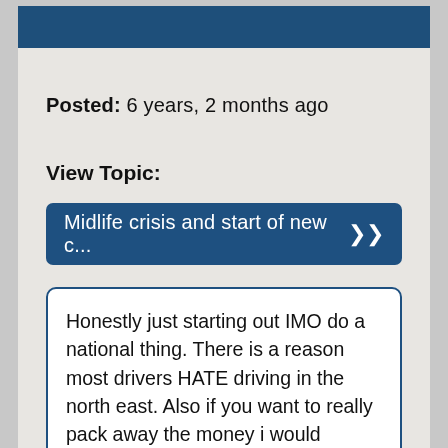Posted:  6 years, 2 months ago
View Topic:
Midlife crisis and start of new c...
Honestly just starting out IMO do a national thing. There is a reason most drivers HATE driving in the north east. Also if you want to really pack away the money i would suggest against the tiny truck, get with a company that has condos. Doing that you can get rid of everything else and litteraly live in the truck reducing bills.